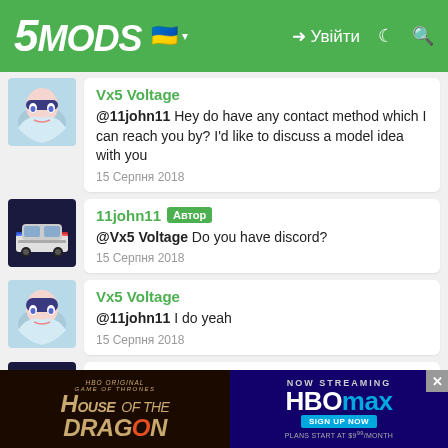5MODS — Увійти
Vx5 Voltage
@11john11 Hey do have any contact method which I can reach you by? I'd like to discuss a model idea with you
15 Серпня 2018
11john11 Автор
@Vx5 Voltage Do you have discord?
15 Серпня 2018
Vx5 Voltage
@11john11 I do yeah
15 Серпня 2018
11john11 Автор
@Vx5 Voltage You could join the vanillaworks discord, too.
15 Серпня 2018
[Figure (screenshot): Advertisement banner: House of the Dragon HBO Max promo]